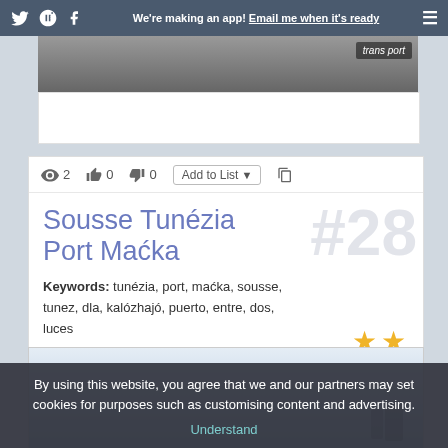We're making an app! Email me when it's ready
[Figure (photo): Top image strip showing a port scene, partially visible, with a 'trans port' badge overlay in the top right corner]
2  0  0  Add to List
Sousse Tunézia Port Maćka
#28
Keywords: tunézia, port, maćka, sousse, tunez, dla, kalózhajó, puerto, entre, dos, luces
Not Curated
[Figure (photo): Bottom partial image showing a port/harbour scene with water and figures, muted blue-grey tones]
By using this website, you agree that we and our partners may set cookies for purposes such as customising content and advertising.
Understand